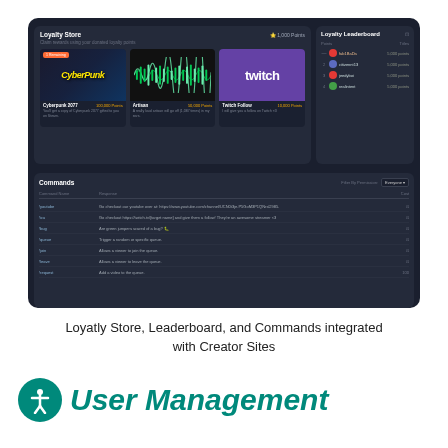[Figure (screenshot): Dark-themed web application interface showing Loyatly Store with reward cards (Cyberpunk 2077, Artisan sound product, Twitch follow), a Loyalty Leaderboard panel on the right with ranked users and point totals, and a Commands section below listing stream commands with responses.]
Loyatly Store, Leaderboard, and Commands integrated with Creator Sites
User Management